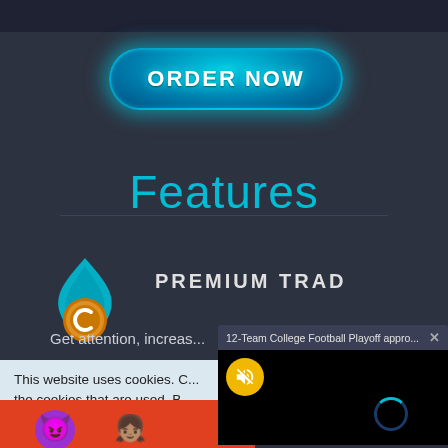[Figure (screenshot): Dark-themed website screenshot showing ORDER NOW button, Features heading, premium trading logo, cookie banner overlay, and a video notification popup]
ORDER NOW
Features
PREMIUM TRAD
Get attention, increas...
This website uses cookies. C... the cookies that are used. B...
12-Team College Football Playoff appro...  ×